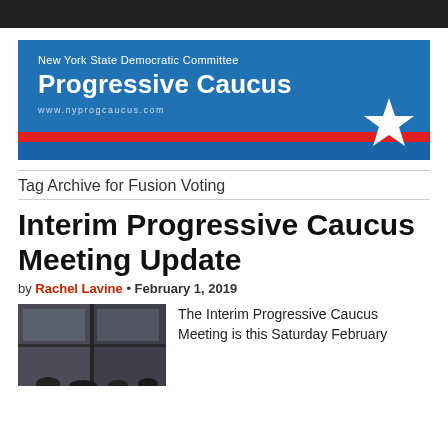[Figure (logo): New York State Democratic Committee Progressive Caucus banner with blue background, red stripe, and star logo. Text: 'New York State Democratic Committee', 'Progressive Caucus', 'www.nyprogcaucus.com']
Tag Archive for Fusion Voting
Interim Progressive Caucus Meeting Update
by Rachel Lavine • February 1, 2019
[Figure (photo): Photo of people gathered in a meeting room, seen through glass windows.]
The Interim Progressive Caucus Meeting is this Saturday February